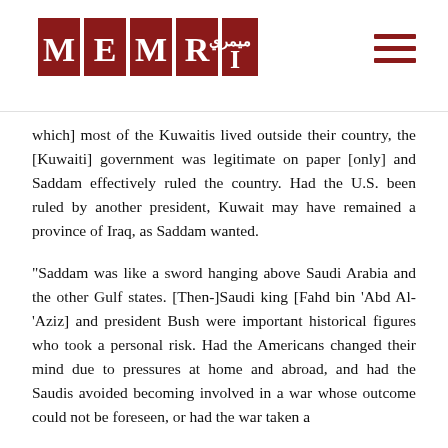MEMRI logo and navigation
which] most of the Kuwaitis lived outside their country, the [Kuwaiti] government was legitimate on paper [only] and Saddam effectively ruled the country. Had the U.S. been ruled by another president, Kuwait may have remained a province of Iraq, as Saddam wanted.
"Saddam was like a sword hanging above Saudi Arabia and the other Gulf states. [Then-]Saudi king [Fahd bin 'Abd Al-'Aziz] and president Bush were important historical figures who took a personal risk. Had the Americans changed their mind due to pressures at home and abroad, and had the Saudis avoided becoming involved in a war whose outcome could not be foreseen, or had the war taken a